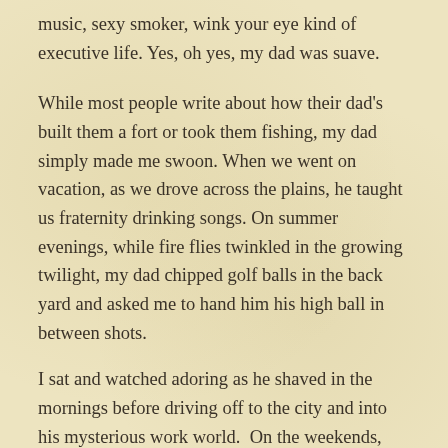music, sexy smoker, wink your eye kind of executive life. Yes, oh yes, my dad was suave.
While most people write about how their dad's built them a fort or took them fishing, my dad simply made me swoon. When we went on vacation, as we drove across the plains, he taught us fraternity drinking songs. On summer evenings, while fire flies twinkled in the growing twilight, my dad chipped golf balls in the back yard and asked me to hand him his high ball in between shots.
I sat and watched adoring as he shaved in the mornings before driving off to the city and into his mysterious work world.  On the weekends, after he got home from golfing with a client,  I combed his thick black hair and planted kisses all over his face as the sun shone, while my other big world Bobs, as in Bobs,